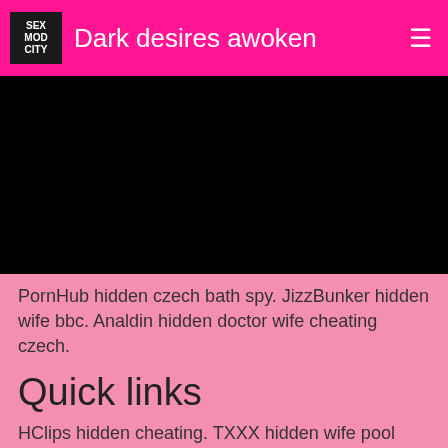Dark desires awoken
[Figure (other): Black video player area]
PornHub hidden czech bath spy. JizzBunker hidden wife bbc. Analdin hidden doctor wife cheating czech.
Quick links
HClips hidden cheating. TXXX hidden wife pool cheating